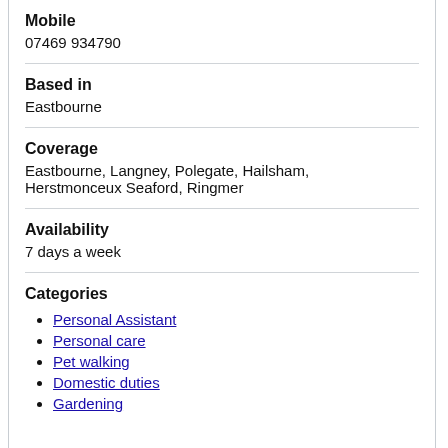Mobile
07469 934790
Based in
Eastbourne
Coverage
Eastbourne, Langney, Polegate, Hailsham, Herstmonceux Seaford, Ringmer
Availability
7 days a week
Categories
Personal Assistant
Personal care
Pet walking
Domestic duties
Gardening